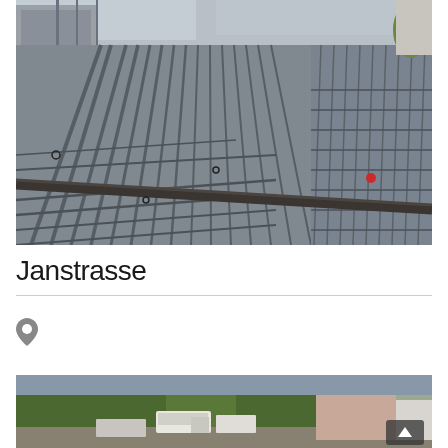[Figure (photo): Aerial/overhead view of a construction site showing reinforced steel rebar laid out in parallel rows across a large concrete floor slab, with scaffolding and construction structures visible in the background.]
Janstrasse
[Figure (photo): Outdoor construction site photo showing a cleared area with trees in the background, construction vehicles and vans parked, and construction materials/fencing visible. A back-to-top arrow button is overlaid in the bottom-right corner.]